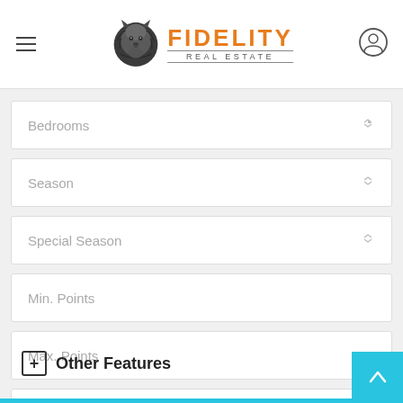Fidelity Real Estate
Bedrooms
Season
Special Season
Min. Points
Max. Points
Week
Other Features